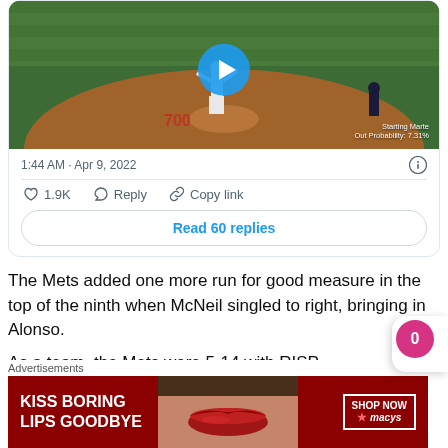[Figure (screenshot): Screenshot of a tweet showing a baseball video thumbnail with a play button. The video shows a pitcher on a mound at a baseball field. Overlay text reads 'Starting Marte Out Probability: 7.31%'. Below the video: timestamp '1:44 AM · Apr 9, 2022', an info icon, like count '1.9K', Reply button, Copy link button, and a 'Read 60 replies' button.]
The Mets added one more run for good measure in the top of the ninth when McNeil singled to right, bringing in Alonso.
As a team, the Mets were 5-14 with RISP
Advertisements
[Figure (photo): Advertisement banner for Macy's lipstick: dark red background with a woman's lips, text 'KISS BORING LIPS GOODBYE', 'SHOP NOW' button, and Macy's star logo]